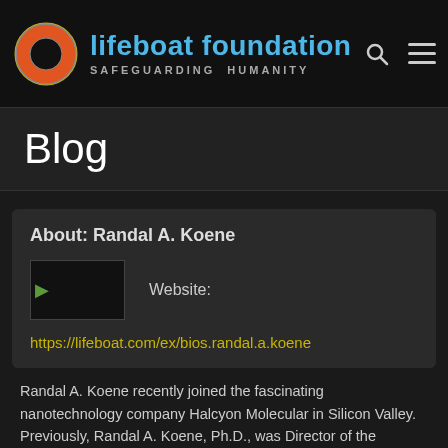[Figure (logo): Lifeboat Foundation logo: lifebuoy icon with brand name 'lifeboat foundation' in blue and tagline 'SAFEGUARDING HUMANITY']
Blog
About: Randal A. Koene
[Figure (photo): Small photo placeholder with broken image icon]
Website:
https://lifeboat.com/ex/bios.randal.a.koene
Randal A. Koene recently joined the fascinating nanotechnology company Halcyon Molecular in Silicon Valley. Previously, Randal A. Koene, Ph.D., was Director of the Department of Neuroengineering at Tecnalia, third largest private research organization in Europe. He is a former Prof. at the Center for Mem...